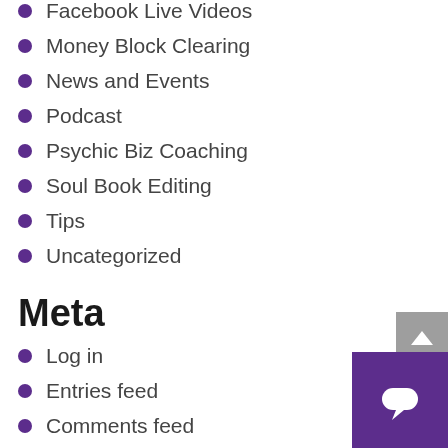Facebook Live Videos
Money Block Clearing
News and Events
Podcast
Psychic Biz Coaching
Soul Book Editing
Tips
Uncategorized
Meta
Log in
Entries feed
Comments feed